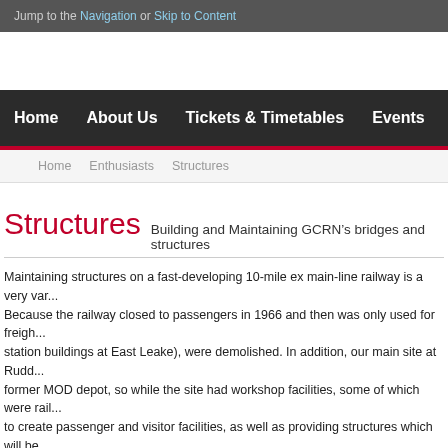Jump to the Navigation or Skip to Content
Home  About Us  Tickets & Timetables  Events  News  Volunteer
Home   Enthusiasts   Structures
Structures
Building and Maintaining GCRN's bridges and structures
Maintaining structures on a fast-developing 10-mile ex main-line railway is a very var... Because the railway closed to passengers in 1966 and then was only used for freigh... station buildings at East Leake), were demolished. In addition, our main site at Rudd... former MOD depot, so while the site had workshop facilities, some of which were rail... to create passenger and visitor facilities, as well as providing structures which will be... (such as the signalbox and huge locomotive servicing shed).
This is indicative of our varied work. Our achievements to date are also notable: